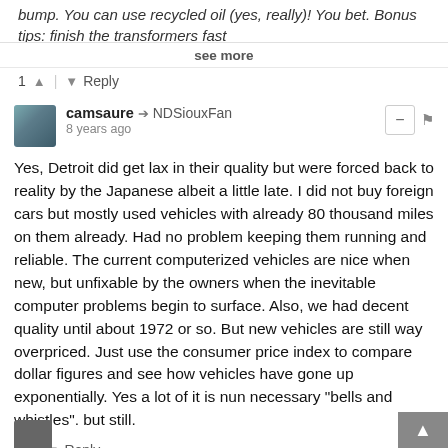bump. You can use recycled oil (yes, really)! You bet. Bonus tips: finish the transformers fast...
see more
1 ▲ | ▼ Reply
camsaure → NDSiouxFan
8 years ago
Yes, Detroit did get lax in their quality but were forced back to reality by the Japanese albeit a little late. I did not buy foreign cars but mostly used vehicles with already 80 thousand miles on them already. Had no problem keeping them running and reliable. The current computerized vehicles are nice when new, but unfixable by the owners when the inevitable computer problems begin to surface. Also, we had decent quality until about 1972 or so. But new vehicles are still way overpriced. Just use the consumer price index to compare dollar figures and see how vehicles have gone up exponentially. Yes a lot of it is nun necessary "bells and whistles". but still.
▲ | ▼ Reply